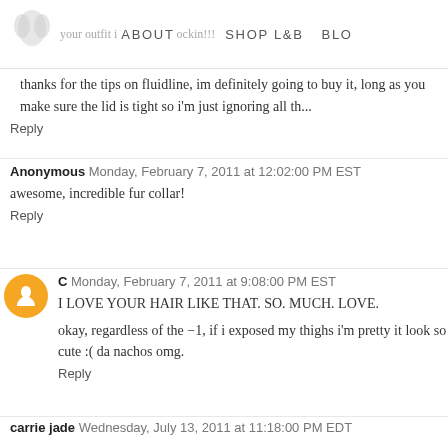your outfit is ABOUT rockin!!! SHOP L&B BLO...
thanks for the tips on fluidline, im definitely going to buy it, long as you make sure the lid is tight so i'm just ignoring all th...
Reply
Anonymous Monday, February 7, 2011 at 12:02:00 PM EST
awesome, incredible fur collar!
Reply
C Monday, February 7, 2011 at 9:08:00 PM EST
I LOVE YOUR HAIR LIKE THAT. SO. MUCH. LOVE.
okay, regardless of the -1, if i exposed my thighs i'm pretty it look so cute :( da nachos omg.
Reply
carrie jade Wednesday, July 13, 2011 at 11:18:00 PM EDT